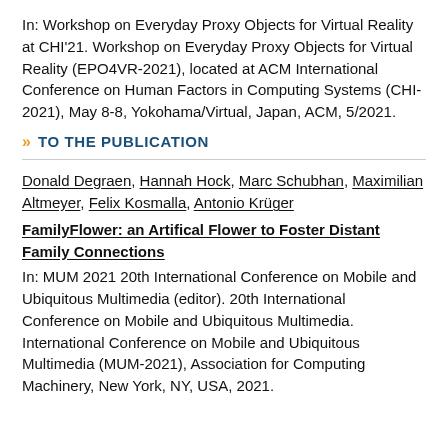In: Workshop on Everyday Proxy Objects for Virtual Reality at CHI'21. Workshop on Everyday Proxy Objects for Virtual Reality (EPO4VR-2021), located at ACM International Conference on Human Factors in Computing Systems (CHI-2021), May 8-8, Yokohama/Virtual, Japan, ACM, 5/2021.
» TO THE PUBLICATION
Donald Degraen, Hannah Hock, Marc Schubhan, Maximilian Altmeyer, Felix Kosmalla, Antonio Krüger
FamilyFlower: an Artifical Flower to Foster Distant Family Connections
In: MUM 2021 20th International Conference on Mobile and Ubiquitous Multimedia (editor). 20th International Conference on Mobile and Ubiquitous Multimedia. International Conference on Mobile and Ubiquitous Multimedia (MUM-2021), Association for Computing Machinery, New York, NY, USA, 2021.